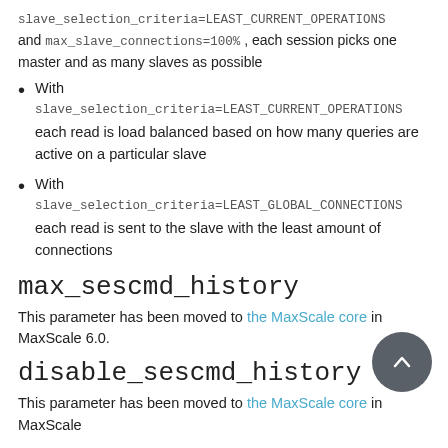slave_selection_criteria=LEAST_CURRENT_OPERATIONS and max_slave_connections=100% , each session picks one master and as many slaves as possible
With slave_selection_criteria=LEAST_CURRENT_OPERATIONS each read is load balanced based on how many queries are active on a particular slave
With slave_selection_criteria=LEAST_GLOBAL_CONNECTIONS each read is sent to the slave with the least amount of connections
max_sescmd_history
This parameter has been moved to the MaxScale core in MaxScale 6.0.
disable_sescmd_history
This parameter has been moved to the MaxScale core in MaxScale